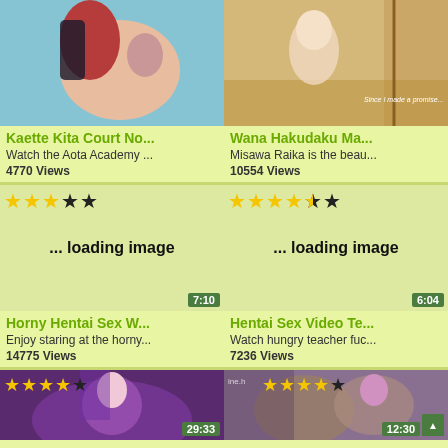[Figure (screenshot): Anime thumbnail top-left: character with red/dark hair on blue background]
[Figure (screenshot): Anime thumbnail top-right: character with light hair in room, text 'Since I made a promise...']
Kaette Kita Court No... Watch the Aota Academy ... 4770 Views
Wana Hakudaku Ma... Misawa Raika is the beau... 10554 Views
[Figure (screenshot): Loading image placeholder with 3/5 stars rating and 7:10 duration]
[Figure (screenshot): Loading image placeholder with 4.5/5 stars rating and 6:04 duration]
Horny Hentai Sex W... Enjoy staring at the horny... 14775 Views
Hentai Sex Video Te... Watch hungry teacher fuc... 7236 Views
[Figure (screenshot): Anime thumbnail bottom-left: character with purple hair, 4/5 stars, 29:33 duration]
[Figure (screenshot): Anime thumbnail bottom-right: character with purple hair in crowd scene, 4/5 stars, 12:30 duration]